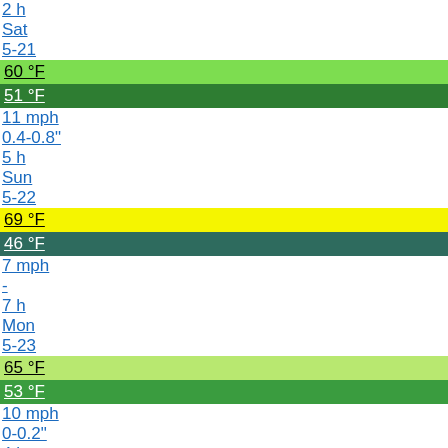2 h
Sat
5-21
60 °F
51 °F
11 mph
0.4-0.8"
5 h
Sun
5-22
69 °F
46 °F
7 mph
-
7 h
Mon
5-23
65 °F
53 °F
10 mph
0-0.2"
4 h
Extended view
Share this forecast
Copy this text